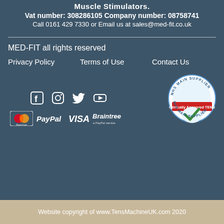Muscle Stimulators.
Vat number: 308286105 Company number: 08758741
Call 0161 429 7330 or Email us at sales@med-fit.co.uk
MED-FIT all rights reserved
Privacy Policy   Terms of Use   Contact Us
[Figure (logo): Social media icons: Facebook, Instagram, Twitter, YouTube]
[Figure (logo): Payment logos: Mastercard, PayPal, VISA, Braintree by PayPal]
[Figure (logo): NHS Main Supplier badge with Clinically Approved TENS text and green checkmark]
Website copyright of www.TensMachineUK.com 2020